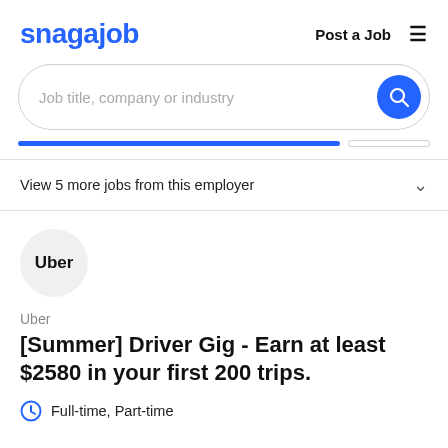snagajob  Post a Job  ☰
[Figure (screenshot): Search bar with placeholder text 'Job title, company or industry' and a blue circular search button]
[Figure (infographic): Tab bar with a filled blue active tab and an outlined inactive tab]
View 5 more jobs from this employer
[Figure (logo): Uber logo in a circular grey badge]
Uber
[Summer] Driver Gig - Earn at least $2580 in your first 200 trips.
Full-time, Part-time